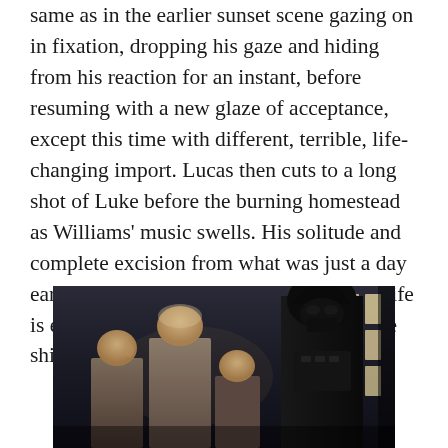same as in the earlier sunset scene gazing on in fixation, dropping his gaze and hiding from his reaction for an instant, before resuming with a new glaze of acceptance, except this time with different, terrible, life-changing import. Lucas then cuts to a long shot of Luke before the burning homestead as Williams' music swells. His solitude and complete excision from what was just a day earlier a stultifying but settled and stable life is encapsulated, before an inward iris wipe shifts the scene.
[Figure (photo): A movie still showing several characters in a dimly lit interior space. Two pale-faced figures in beige/tan costumes are visible in the foreground and middle ground, with a dark-armored figure (Darth Vader) on the right side. Rectangular window lights are visible in the upper right background.]